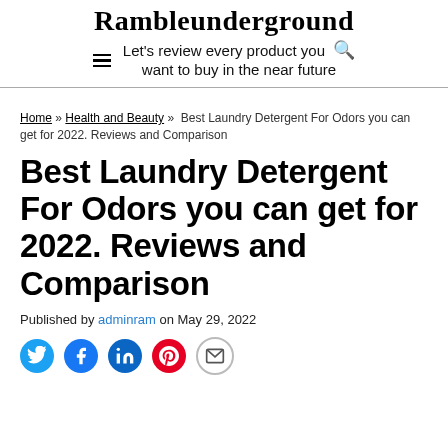Rambleunderground
Let's review every product you want to buy in the near future
Home » Health and Beauty »  Best Laundry Detergent For Odors you can get for 2022. Reviews and Comparison
Best Laundry Detergent For Odors you can get for 2022. Reviews and Comparison
Published by adminram on May 29, 2022
[Figure (infographic): Social share icons: Twitter (blue bird), Facebook (blue f), LinkedIn (blue in), Pinterest (red P), Email (envelope)]